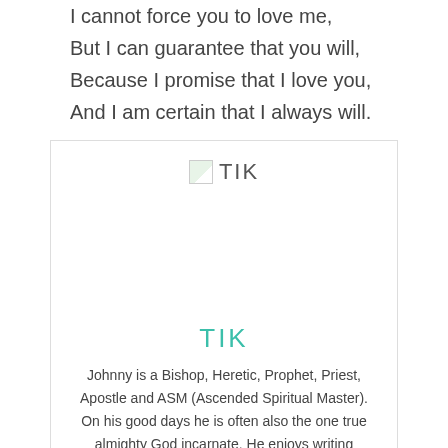I cannot force you to love me,
But I can guarantee that you will,
Because I promise that I love you,
And I am certain that I always will.
[Figure (other): Author card with broken image placeholder and TIK logo, teal TIK title, and author bio text]
Johnny is a Bishop, Heretic, Prophet, Priest, Apostle and ASM (Ascended Spiritual Master). On his good days he is often also the one true almighty God incarnate. He enjoys writing theology and philosophy articles and spreading the Gospel promise of Universal Salvation